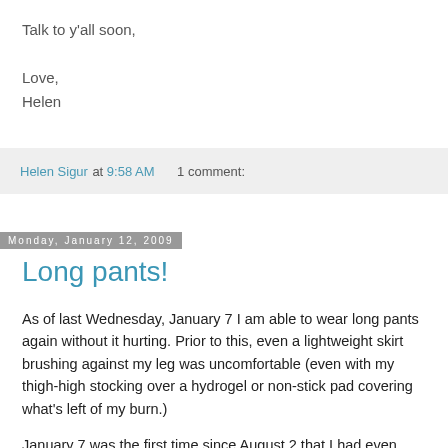Talk to y'all soon,

Love,
Helen
Helen Sigur at 9:58 AM    1 comment:
Monday, January 12, 2009
Long pants!
As of last Wednesday, January 7 I am able to wear long pants again without it hurting. Prior to this, even a lightweight skirt brushing against my leg was uncomfortable (even with my thigh-high stocking over a hydrogel or non-stick pad covering what's left of my burn.)
January 7 was the first time since August 2 that I had even attempted to wear long pants, and I'm so relieved that I CAN now because it's getting COLD, especially at night.